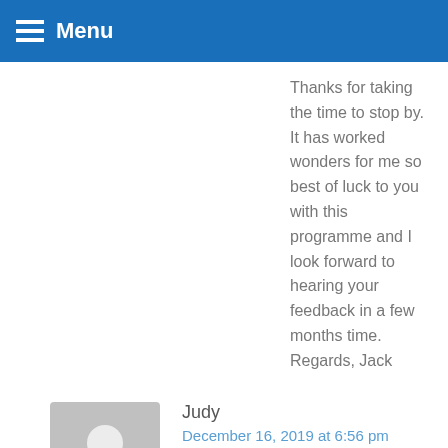Menu
Thanks for taking the time to stop by. It has worked wonders for me so best of luck to you with this programme and I look forward to hearing your feedback in a few months time. Regards, Jack
Judy
December 16, 2019 at 6:56 pm
Jack, is the 4 product program you've listed above only for men? As a woman losing her hair, I'm desperate.
We use cookies on our website to give you the most relevant experience by remembering your preferences and repeat visits. By clicking "Accept All", you consent to the use of ALL the cookies. However, you may visit "Cookie Settings" to provide a controlled consent.